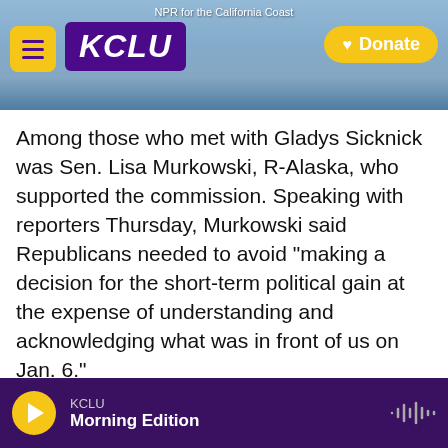[Figure (screenshot): KCLU NPR for the California Coast website header with coastal background photo, hamburger menu button, KCLU logo in purple, and yellow Donate button]
Among those who met with Gladys Sicknick was Sen. Lisa Murkowski, R-Alaska, who supported the commission. Speaking with reporters Thursday, Murkowski said Republicans needed to avoid "making a decision for the short-term political gain at the expense of understanding and acknowledging what was in front of us on Jan. 6."
She continued: "Is that really what this is about, that everything is just one election cycle after another?"
In the end, only four other Republican senators
KCLU Morning Edition